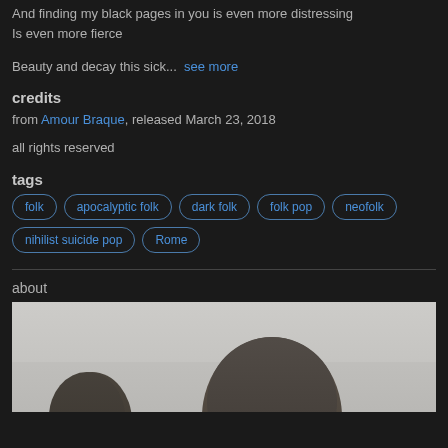And finding my black pages in you is even more distressing
Is even more fierce
Beauty and decay this sick...  see more
credits
from Amour Braque, released March 23, 2018
all rights reserved
tags
folk
apocalyptic folk
dark folk
folk pop
neofolk
nihilist suicide pop
Rome
about
[Figure (photo): Black and white photograph showing two people, partially cropped at bottom of page]